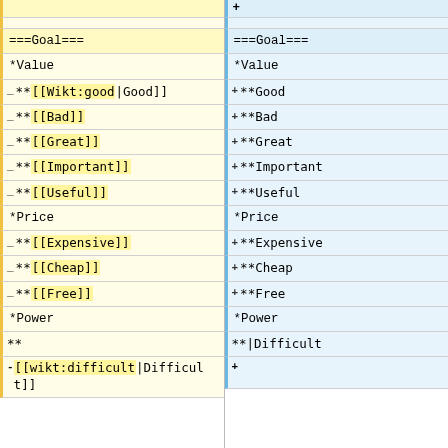| Left (wiki markup - old) | Right (wiki markup - new) |
| --- | --- |
| ===Goal=== | ===Goal=== |
| *Value | *Value |
| **[[Wikt:good|Good]] | **Good |
| **[[Bad]] | **Bad |
| **[[Great]] | **Great |
| **[[Important]] | **Important |
| **[[Useful]] | **Useful |
| *Price | *Price |
| **[[Expensive]] | **Expensive |
| **[[Cheap]] | **Cheap |
| **[[Free]] | **Free |
| *Power | *Power |
| **
-[[wikt:difficult|Difficul
tl]] | **|Difficult
+ |